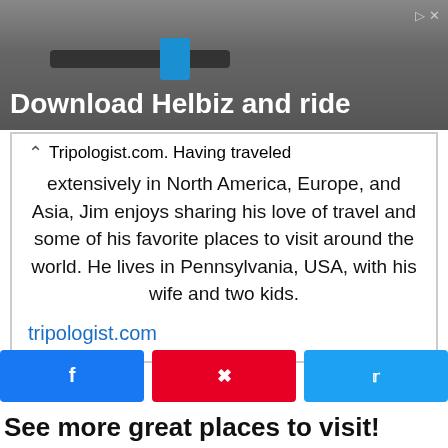[Figure (photo): Advertisement banner for Helbiz with bicycle handlebars in background and text 'Download Helbiz and ride']
Tripologist.com. Having traveled extensively in North America, Europe, and Asia, Jim enjoys sharing his love of travel and some of his favorite places to visit around the world. He lives in Pennsylvania, USA, with his wife and two kids.
tripologist.com
[Figure (other): Social share buttons: Facebook (blue), Pinterest (red), Twitter (blue)]
See more great places to visit!